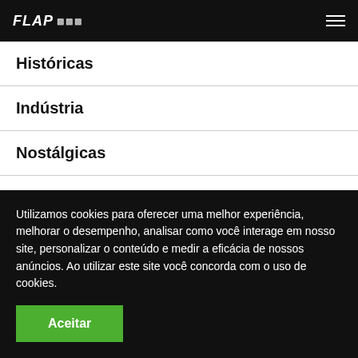FLAP
Históricas
Indústria
Nostálgicas
Notícias
Sem categoria
Utilizamos cookies para oferecer uma melhor experiência, melhorar o desempenho, analisar como você interage em nosso site, personalizar o conteúdo e medir a eficácia de nossos anúncios. Ao utilizar este site você concorda com o uso de cookies.
Aceitar